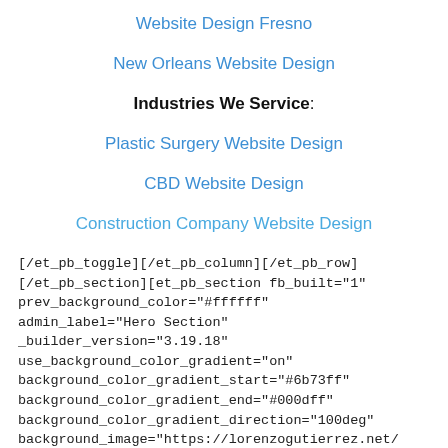Website Design Fresno
New Orleans Website Design
Industries We Service:
Plastic Surgery Website Design
CBD Website Design
Construction Company Website Design
[/et_pb_toggle][/et_pb_column][/et_pb_row][/et_pb_section][et_pb_section fb_built="1" prev_background_color="#ffffff" admin_label="Hero Section" _builder_version="3.19.18" use_background_color_gradient="on" background_color_gradient_start="#6b73ff" background_color_gradient_end="#000dff" background_color_gradient_direction="100deg" background_image="https://lorenzogutierrez.net/